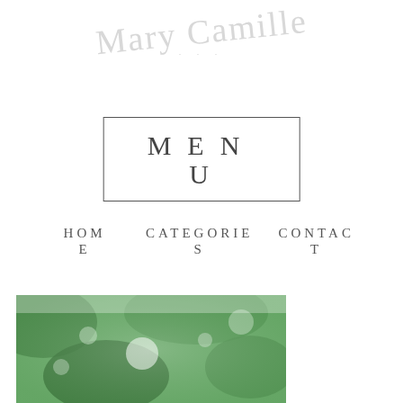[Figure (logo): Decorative cursive script logo in light gray reading 'Mary Camille' with a subtitle below in small caps]
MENU
HOME   CATEGORIES   CONTACT
[Figure (photo): Blurred outdoor foliage photo with green bokeh tones, partially visible at bottom left]